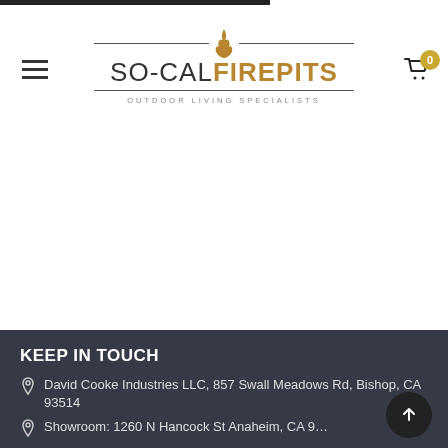[Figure (logo): So-Cal Fire Pits logo with flame icon and tagline OUTDOOR LIVING SPECIALISTS]
KEEP IN TOUCH
David Cooke Industries LLC, 857 Swall Meadows Rd, Bishop, CA 93514
Showroom: 1260 N Hancock St Anaheim, CA 9...
(888) 303-2453